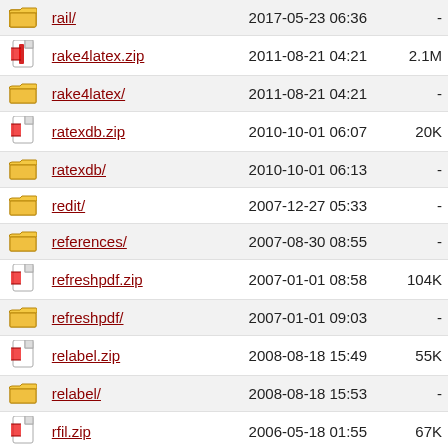|  | Name | Date | Size |
| --- | --- | --- | --- |
| [folder] | rail/ | 2017-05-23 06:36 | - |
| [zip] | rake4latex.zip | 2011-08-21 04:21 | 2.1M |
| [folder] | rake4latex/ | 2011-08-21 04:21 | - |
| [zip] | ratexdb.zip | 2010-10-01 06:07 | 20K |
| [folder] | ratexdb/ | 2010-10-01 06:13 | - |
| [folder] | redit/ | 2007-12-27 05:33 | - |
| [folder] | references/ | 2007-08-30 08:55 | - |
| [zip] | refreshpdf.zip | 2007-01-01 08:58 | 104K |
| [folder] | refreshpdf/ | 2007-01-01 09:03 | - |
| [zip] | relabel.zip | 2008-08-18 15:49 | 55K |
| [folder] | relabel/ | 2008-08-18 15:53 | - |
| [zip] | rfil.zip | 2006-05-18 01:55 | 67K |
| [folder] | rfil/ | 2006-05-18 01:55 | - |
| [folder] | rmligs/ | 2012-06-10 03:43 | - |
| [zip] | rnototex.zip | 2006-03-12 08:17 | 65K |
| [folder] | rnototex/ | 2006-03-12 08:17 | - |
| [folder] | rtf2html/ | 1999-10-29 01:24 | - |